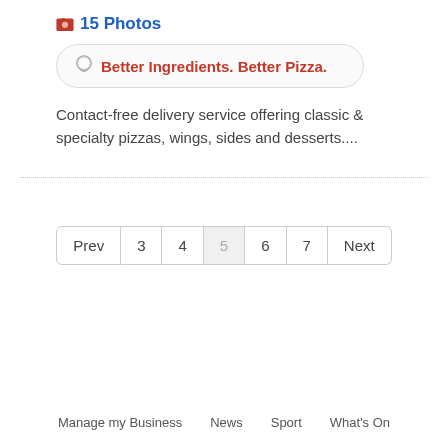📷 15 Photos
💬 Better Ingredients. Better Pizza.
Contact-free delivery service offering classic & specialty pizzas, wings, sides and desserts....
Prev 3 4 5 6 7 Next
Manage my Business   News   Sport   What's On